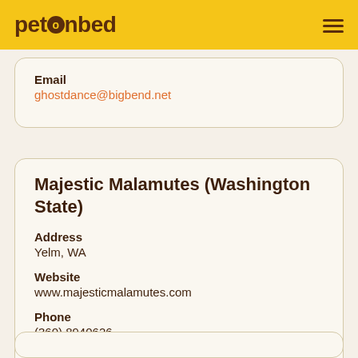petonbed
Email
ghostdance@bigbend.net
Majestic Malamutes (Washington State)
Address
Yelm, WA
Website
www.majesticmalamutes.com
Phone
(360) 8940626
Email
mike@majesticmalamutes.com